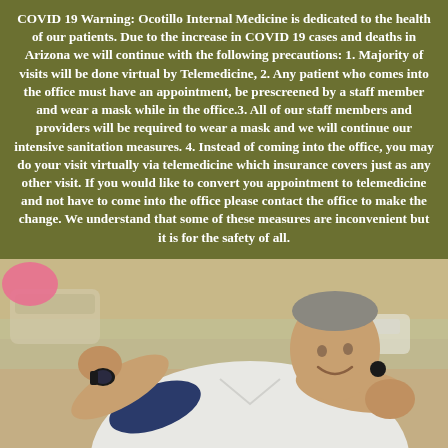COVID 19 Warning: Ocotillo Internal Medicine is dedicated to the health of our patients. Due to the increase in COVID 19 cases and deaths in Arizona we will continue with the following precautions: 1. Majority of visits will be done virtual by Telemedicine, 2. Any patient who comes into the office must have an appointment, be prescreened by a staff member and wear a mask while in the office.3. All of our staff members and providers will be required to wear a mask and we will continue our intensive sanitation measures. 4. Instead of coming into the office, you may do your visit virtually via telemedicine which insurance covers just as any other visit. If you would like to convert you appointment to telemedicine and not have to come into the office please contact the office to make the change. We understand that some of these measures are inconvenient but it is for the safety of all.
[Figure (photo): A middle-aged man wearing a white shirt reclines outdoors, smiling, with his arms crossed behind his head. He appears to be at a pool or beach area. He is wearing a dark watch on his wrist and has a relaxed, casual posture.]